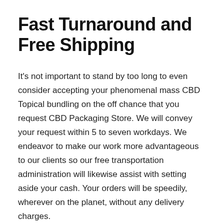Fast Turnaround and Free Shipping
It's not important to stand by too long to even consider accepting your phenomenal mass CBD Topical bundling on the off chance that you request CBD Packaging Store. We will convey your request within 5 to seven workdays. We endeavor to make our work more advantageous to our clients so our free transportation administration will likewise assist with setting aside your cash. Your orders will be speedily, wherever on the planet, without any delivery charges.